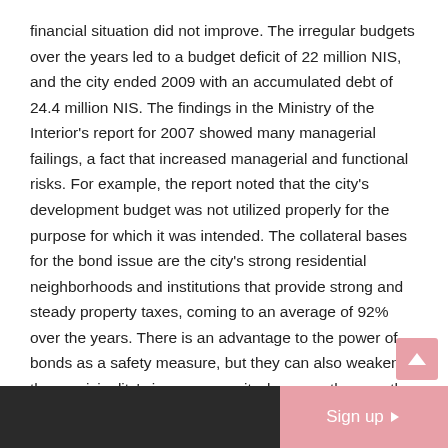financial situation did not improve. The irregular budgets over the years led to a budget deficit of 22 million NIS, and the city ended 2009 with an accumulated debt of 24.4 million NIS. The findings in the Ministry of the Interior's report for 2007 showed many managerial failings, a fact that increased managerial and functional risks. For example, the report noted that the city's development budget was not utilized properly for the purpose for which it was intended. The collateral bases for the bond issue are the city's strong residential neighborhoods and institutions that provide strong and steady property taxes, coming to an average of 92% over the years. There is an advantage to the power of bonds as a safety measure, but they can also weaken the municipality's income security, because they are the city's steady income. The Municipality of Eilat failed to maintain a budgetary balance and in
Sign up